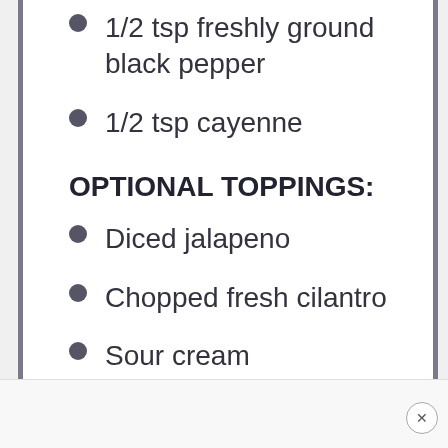1/2 tsp freshly ground black pepper
1/2 tsp cayenne
OPTIONAL TOPPINGS:
Diced jalapeno
Chopped fresh cilantro
Sour cream
Shredded cheddar cheese
Fritos